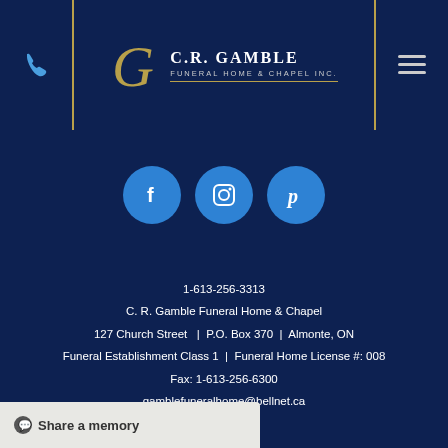C.R. Gamble Funeral Home & Chapel Inc.
[Figure (logo): Phone icon, C.R. Gamble Funeral Home & Chapel Inc. logo, and hamburger menu icon in dark navy header bar]
[Figure (infographic): Three blue circular social media icons: Facebook, Instagram, Pinterest]
1-613-256-3313
C. R. Gamble Funeral Home & Chapel
127 Church Street  |  P.O. Box 370  |  Almonte, ON
Funeral Establishment Class 1  |  Funeral Home License #: 008
Fax: 1-613-256-6300
gamblefuneralhome@bellnet.ca
Share a memory